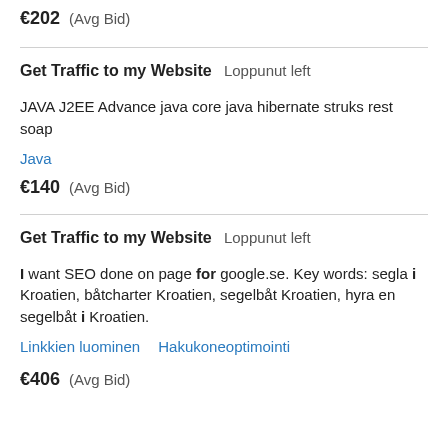€202  (Avg Bid)
Get Traffic to my Website  Loppunut left
JAVA J2EE Advance java core java hibernate struks rest soap
Java
€140  (Avg Bid)
Get Traffic to my Website  Loppunut left
I want SEO done on page for google.se. Key words: segla i Kroatien, båtcharter Kroatien, segelbåt Kroatien, hyra en segelbåt i Kroatien.
Linkkien luominen  Hakukoneoptimointi
€406  (Avg Bid)